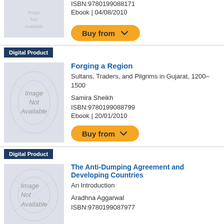ISBN:9780199088171
Ebook | 04/08/2010
[Figure (other): Buy from button (orange pill-shaped button with chevron)]
Digital Product
[Figure (other): Book cover image placeholder - Image Not Available]
Forging a Region
Sultans, Traders, and Pilgrims in Gujarat, 1200–1500
Samira Sheikh
ISBN:9780199088799
Ebook | 20/01/2010
[Figure (other): Buy from button (orange pill-shaped button with chevron)]
Digital Product
[Figure (other): Book cover image placeholder - Image Not Available]
The Anti-Dumping Agreement and Developing Countries
An Introduction
Aradhna Aggarwal
ISBN:9780199087977